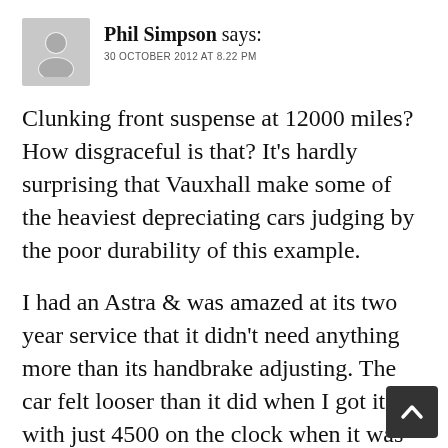[Figure (illustration): Grey avatar silhouette icon of a person]
Phil Simpson says:
30 OCTOBER 2012 AT 8.22 PM
Clunking front suspense at 12000 miles? How disgraceful is that? It's hardly surprising that Vauxhall make some of the heaviest depreciating cars judging by the poor durability of this example.
I had an Astra & was amazed at its two year service that it didn't need anything more than its handbrake adjusting. The car felt looser than it did when I got it with just 4500 on the clock when it was nine months old. I was astounded that nothing
[Figure (illustration): Dark grey scroll-to-top arrow button in bottom right corner]